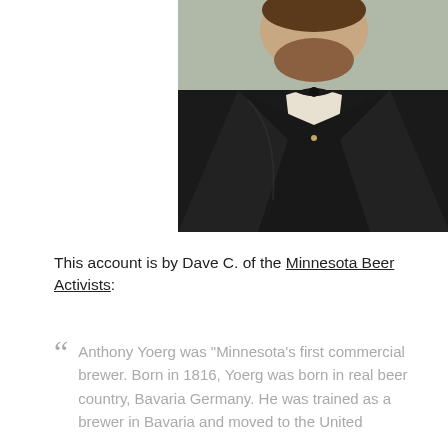[Figure (photo): Portrait painting of Anthony Yoerg, a man in a dark jacket and bow tie, shown from the chest up against a muted background.]
This account is by Dave C. of the Minnesota Beer Activists:
Anthony Yoerg was "Minnesota's first commercial brewer. Born in 1816, Yoerg was born in real beer country, Bavaria Germany. He was trained as a brewer in Bavaria and moved to the United